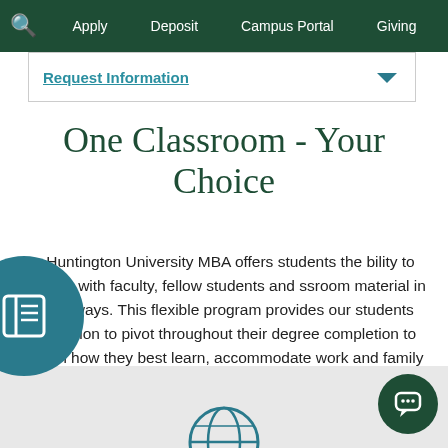Apply  Deposit  Campus Portal  Giving
Request Information
One Classroom - Your Choice
The Huntington University MBA offers students the ability to engage with faculty, fellow students and classroom material in three ways. This flexible program provides our students the option to pivot throughout their degree completion to match how they best learn, accommodate work and family schedules as well as stay on track to graduate.
[Figure (illustration): Teal circle with a document/sidebar layout icon (white icon on teal background)]
[Figure (illustration): Dark green circle with white speech bubble / chat icon]
[Figure (illustration): Partial globe icon visible at bottom center of page]